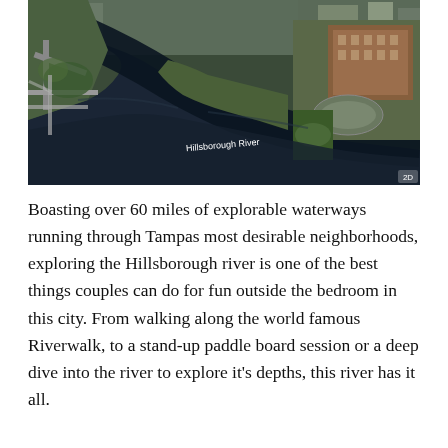[Figure (photo): Aerial/satellite map view of the Hillsborough River in Tampa, showing dark water winding through urban neighborhoods with roads, green spaces, and brick buildings visible. The label 'Hillsborough River' appears on the water in white text.]
Boasting over 60 miles of explorable waterways running through Tampas most desirable neighborhoods, exploring the Hillsborough river is one of the best things couples can do for fun outside the bedroom in this city. From walking along the world famous Riverwalk, to a stand-up paddle board session or a deep dive into the river to explore it's depths, this river has it all.